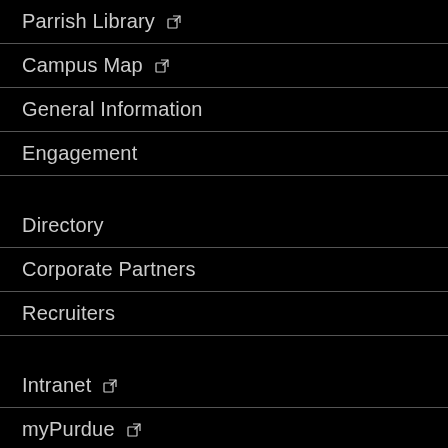Parrish Library ↗
Campus Map ↗
General Information
Engagement
Directory
Corporate Partners
Recruiters
Intranet ↗
myPurdue ↗
myCCO ↗